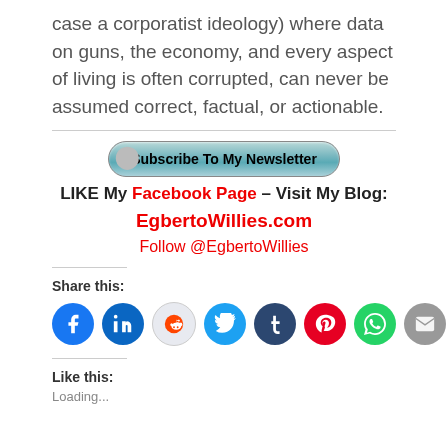case a corporatist ideology) where data on guns, the economy, and every aspect of living is often corrupted, can never be assumed correct, factual, or actionable.
[Figure (infographic): Subscribe To My Newsletter button with teal/silver pill shape and bullet icon]
LIKE My Facebook Page – Visit My Blog: EgbertoWillies.com Follow @EgbertoWillies
Share this:
[Figure (infographic): Row of social share icons: Facebook, LinkedIn, Reddit, Twitter, Tumblr, Pinterest, WhatsApp, Email]
Like this:
Loading...